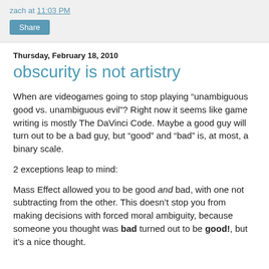zach at 11:03 PM
Share
Thursday, February 18, 2010
obscurity is not artistry
When are videogames going to stop playing “unambiguous good vs. unambiguous evil”? Right now it seems like game writing is mostly The DaVinci Code. Maybe a good guy will turn out to be a bad guy, but “good” and “bad” is, at most, a binary scale.
2 exceptions leap to mind:
Mass Effect allowed you to be good and bad, with one not subtracting from the other. This doesn’t stop you from making decisions with forced moral ambiguity, because someone you thought was bad turned out to be good!, but it’s a nice thought.